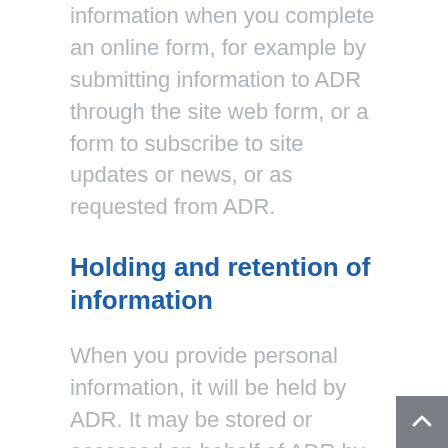information when you complete an online form, for example by submitting information to ADR through the site web form, or a form to subscribe to site updates or news, or as requested from ADR.
Holding and retention of information
When you provide personal information, it will be held by ADR. It may be stored or accessed on behalf of ADR by authorised third parties (such as third-party contractors) to the extent that is necessary. We will store and keep it secure in